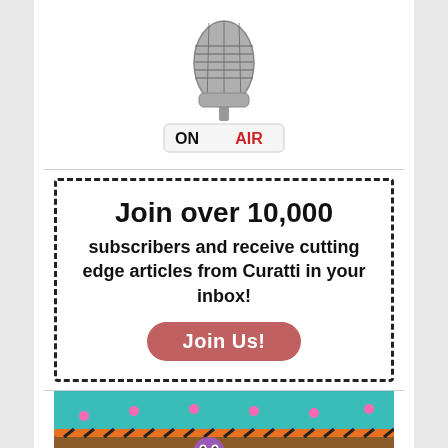[Figure (illustration): Microphone on air stand with 'ON AIR' text label, silver microphone graphic with red text 'AIR' and black text 'ON']
Join over 10,000 subscribers and receive cutting edge articles from Curatti in your inbox! Join Us!
[Figure (screenshot): Mobile game screenshot showing colorful cartoon emoji-style ball characters on a game board with orange and black striped bumpers on a teal background]